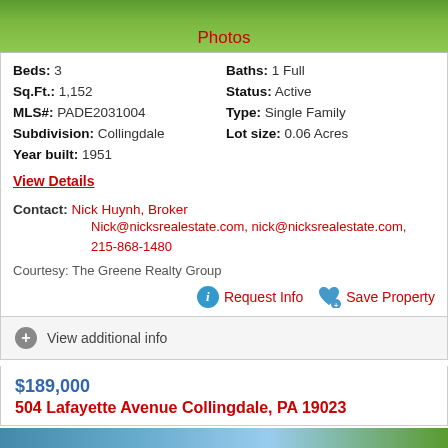[Figure (photo): Property photo strip at top with green landscape, Photos link in red below]
Beds: 3   Baths: 1 Full
Sq.Ft.: 1,152   Status: Active
MLS#: PADE2031004   Type: Single Family
Subdivision: Collingdale   Lot size: 0.06 Acres
Year built: 1951
View Details
Contact: Nick Huynh, Broker
Nick@nicksrealestate.com, nick@nicksrealestate.com,
215-868-1480
Courtesy: The Greene Realty Group
Request Info   Save Property
View additional info
$189,000
504 Lafayette Avenue Collingdale, PA 19023
[Figure (photo): Bottom property photo strip]